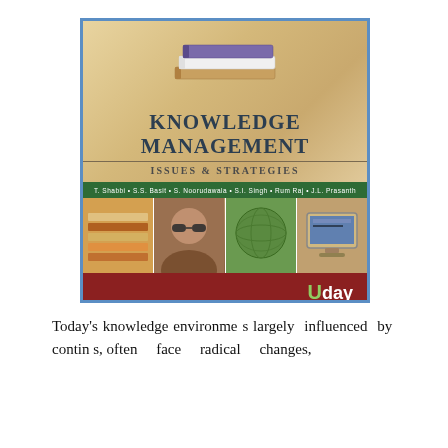[Figure (illustration): Book cover for 'Knowledge Management: Issues & Strategies' published by Uday. Features stacked books illustration at top, title text in center, a green author bar, four photo panels showing books, a person with sunglasses, a globe/money image, and a computer, with a dark red bottom bar and the Uday publisher logo.]
Today's knowledge environment is largely influenced by continuous, often face radical changes,